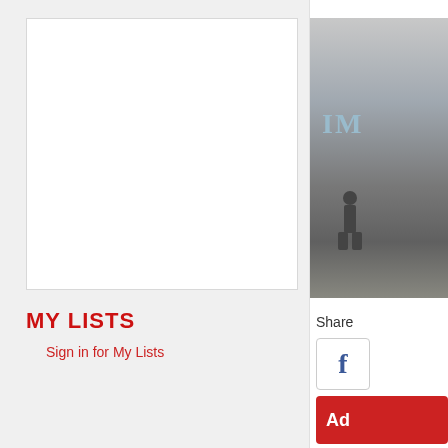[Figure (other): White content area / empty placeholder box]
MY LISTS
Sign in for My Lists
[Figure (photo): Book cover image showing a black and white mountainous/snowy scene with a figure, with light blue letters 'IM' visible]
Share
[Figure (other): Facebook share button with letter f]
[Figure (other): Red Add button (partially visible, text starts with 'Ad')]